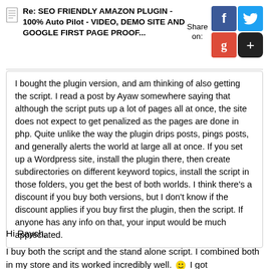Re: SEO FRIENDLY AMAZON PLUGIN - 100% Auto Pilot - VIDEO, DEMO SITE AND GOOGLE FIRST PAGE PROOF...
I bought the plugin version, and am thinking of also getting the script. I read a post by Ayaw somewhere saying that although the script puts up a lot of pages all at once, the site does not expect to get penalized as the pages are done in php. Quite unlike the way the plugin drips posts, pings posts, and generally alerts the world at large all at once. If you set up a Wordpress site, install the plugin there, then create subdirectories on different keyword topics, install the script in those folders, you get the best of both worlds. I think there's a discount if you buy both versions, but I don't know if the discount applies if you buy first the plugin, then the script. If anyone has any info on that, your input would be much appreciated.
Hi Raych,
I buy both the script and the stand alone script. I combined both in my store and its worked incredibly well. 🙂 I got